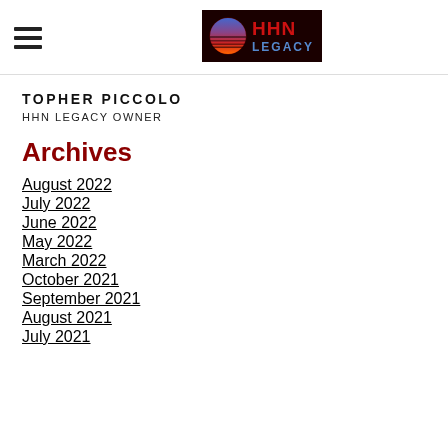HHN LEGACY
TOPHER PICCOLO
HHN LEGACY OWNER
Archives
August 2022
July 2022
June 2022
May 2022
March 2022
October 2021
September 2021
August 2021
July 2021